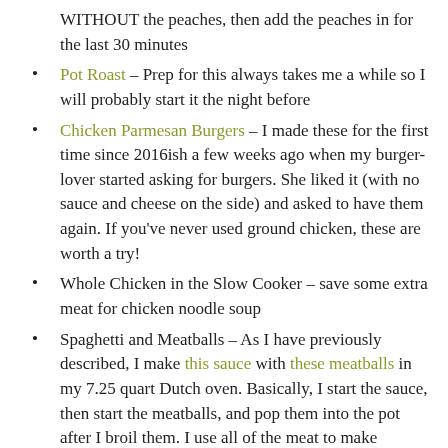WITHOUT the peaches, then add the peaches in for the last 30 minutes
Pot Roast – Prep for this always takes me a while so I will probably start it the night before
Chicken Parmesan Burgers – I made these for the first time since 2016ish a few weeks ago when my burger-lover started asking for burgers. She liked it (with no sauce and cheese on the side) and asked to have them again. If you've never used ground chicken, these are worth a try!
Whole Chicken in the Slow Cooker – save some extra meat for chicken noodle soup
Spaghetti and Meatballs – As I have previously described, I make this sauce with these meatballs in my 7.25 quart Dutch oven. Basically, I start the sauce, then start the meatballs, and pop them into the pot after I broil them. I use all of the meat to make meatballs, instead of using some to make the sauce a meat sauce (doing this yields me about 32 meatballs instead of 16). It is time consuming but